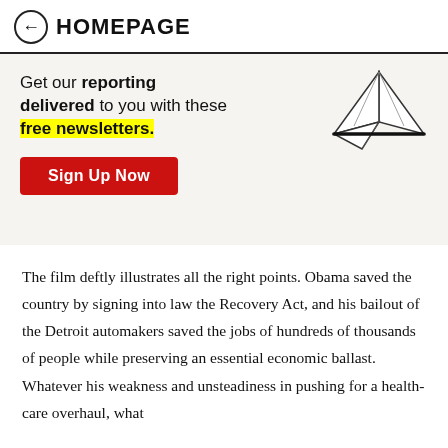← HOMEPAGE
[Figure (infographic): Newsletter signup banner with paper airplane illustration and red Sign Up Now button. Text: Get our reporting delivered to you with these free newsletters.]
The film deftly illustrates all the right points. Obama saved the country by signing into law the Recovery Act, and his bailout of the Detroit automakers saved the jobs of hundreds of thousands of people while preserving an essential economic ballast. Whatever his weakness and unsteadiness in pushing for a health-care overhaul, what